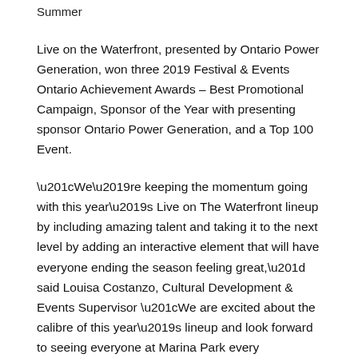Summer
Live on the Waterfront, presented by Ontario Power Generation, won three 2019 Festival & Events Ontario Achievement Awards – Best Promotional Campaign, Sponsor of the Year with presenting sponsor Ontario Power Generation, and a Top 100 Event.
“We’re keeping the momentum going with this year’s Live on The Waterfront lineup by including amazing talent and taking it to the next level by adding an interactive element that will have everyone ending the season feeling great,” said Louisa Costanzo, Cultural Development & Events Supervisor “We are excited about the calibre of this year’s lineup and look forward to seeing everyone at Marina Park every Wednesday this summer.”
The talent presented at Live on the Waterfront this summer